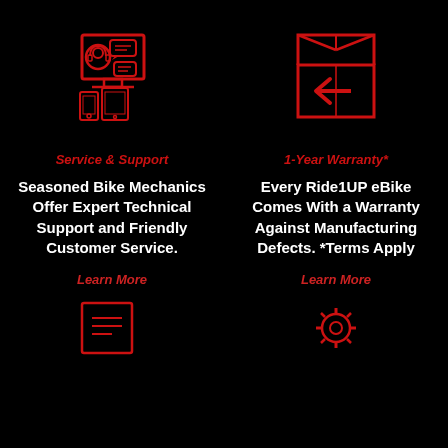[Figure (illustration): Red line icon of a customer support desk with computer screen, headset person, and chat bubbles on black background]
[Figure (illustration): Red line icon of an open box with a left-pointing arrow on black background, representing returns]
Service & Support
1-Year Warranty*
Seasoned Bike Mechanics Offer Expert Technical Support and Friendly Customer Service.
Every Ride1UP eBike Comes With a Warranty Against Manufacturing Defects. *Terms Apply
Learn More
Learn More
[Figure (illustration): Red line icon at the bottom left, partially visible]
[Figure (illustration): Red line icon at the bottom right, partially visible]